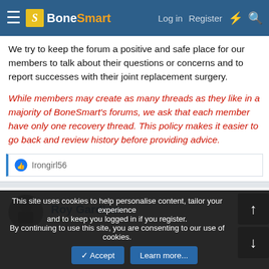BoneSmart | Log in | Register
We try to keep the forum a positive and safe place for our members to talk about their questions or concerns and to report successes with their joint replacement surgery.
While members may create as many threads as they like in a majority of BoneSmart's forums, we ask that each member have only one recovery thread. This policy makes it easier to go back and review history before providing advice.
Irongirl56
Roy Gardiner
This site uses cookies to help personalise content, tailor your experience and to keep you logged in if you register. By continuing to use this site, you are consenting to our use of cookies.
Accept | Learn more...